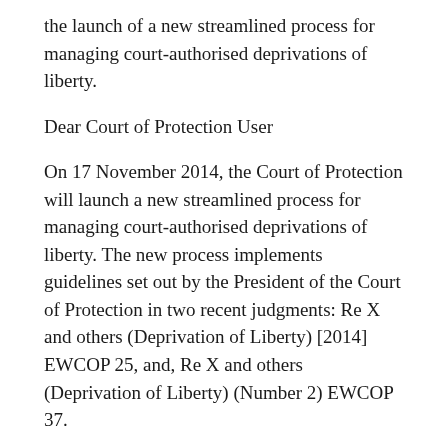the launch of a new streamlined process for managing court-authorised deprivations of liberty.
Dear Court of Protection User
On 17 November 2014, the Court of Protection will launch a new streamlined process for managing court-authorised deprivations of liberty. The new process implements guidelines set out by the President of the Court of Protection in two recent judgments: Re X and others (Deprivation of Liberty) [2014] EWCOP 25, and, Re X and others (Deprivation of Liberty) (Number 2) EWCOP 37.
The new Re X procedure is set out in a practice direction issued by the President, and is accompanied by new application forms, designed exclusively for applying for court-authorised deprivations of liberty. You can download a saveable